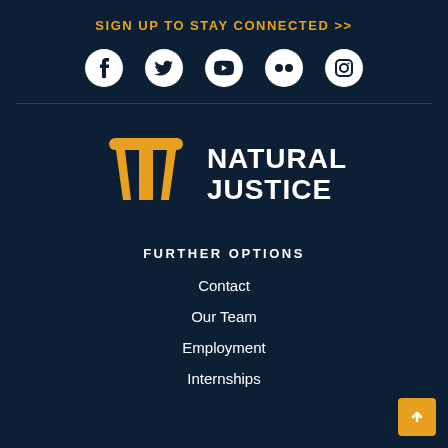SIGN UP TO STAY CONNECTED >>
[Figure (illustration): Social media icons: Facebook, Twitter, YouTube, Flickr, Instagram - white on dark navy background]
[Figure (logo): Natural Justice logo - gold stylized pillar icon with white bold text NATURAL JUSTICE]
FURTHER OPTIONS
Contact
Our Team
Employment
Internships